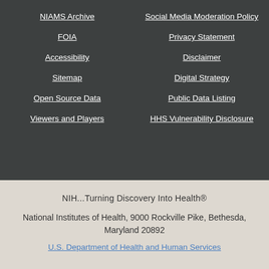NIAMS Archive
Social Media Moderation Policy
FOIA
Privacy Statement
Accessibility
Disclaimer
Sitemap
Digital Strategy
Open Source Data
Public Data Listing
Viewers and Players
HHS Vulnerability Disclosure
NIH...Turning Discovery Into Health®
National Institutes of Health, 9000 Rockville Pike, Bethesda, Maryland 20892
U.S. Department of Health and Human Services